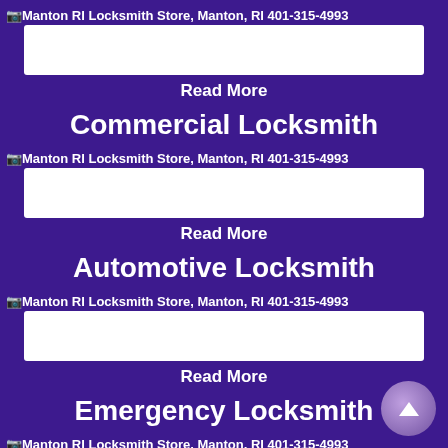[Figure (screenshot): Broken image placeholder: Manton RI Locksmith Store, Manton, RI 401-315-4993]
Read More
Commercial Locksmith
[Figure (screenshot): Broken image placeholder: Manton RI Locksmith Store, Manton, RI 401-315-4993]
Read More
Automotive Locksmith
[Figure (screenshot): Broken image placeholder: Manton RI Locksmith Store, Manton, RI 401-315-4993]
Read More
Emergency Locksmith
[Figure (screenshot): Broken image placeholder: Manton RI Locksmith Store, Manton, RI 401-315-4993]